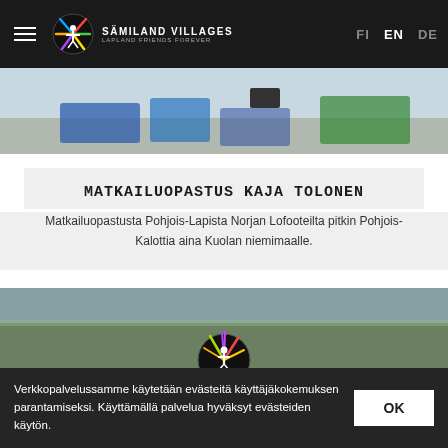Sämiland Villages – Lapland Friends Forever | FI EN DE
[Figure (screenshot): Top portion of a webpage showing a landscape image with blue and green objects on pavement]
MATKAILUOPASTUS KAJA TOLONEN
Matkailuopastusta Pohjois-Lapista Norjan Lofooteilta pitkin Pohjois-Kalottia aina Kuolan niemimaalle.
[Figure (photo): Landscape outdoor photo with Sämiland Villages logo partially visible at bottom]
Verkkopalvelussamme käytetään evästeitä käyttäjäkokemuksen parantamiseksi. Käyttämällä palvelua hyväksyt evästeiden käytön.